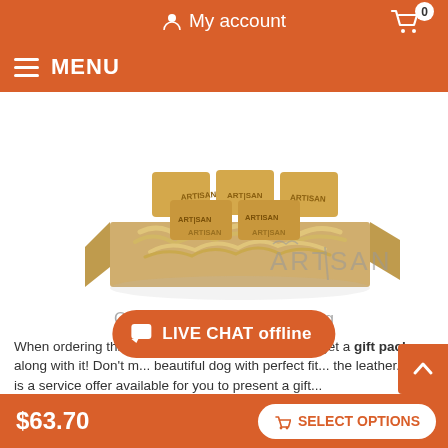My account
MENU
[Figure (photo): Artisan branded dog collar wrapped in packaging paper inside a brown gift box with straw/shredded paper filler, with ARTISAN logo watermark bottom right]
Order a present for your dog
When ordering this embellished dog collar, you will get a gift package along with it! Don't m... beautiful dog with perfect fit... the leather. This is a service offer available for you to present a gift...
LIVE CHAT offline
$63.70
SELECT OPTIONS